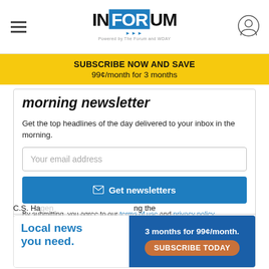InForum – Powered by The Forum and WDAY
SUBSCRIBE NOW AND SAVE 99¢/month for 3 months
morning newsletter
Get the top headlines of the day delivered to your inbox in the morning.
Your email address
✉ Get newsletters
By submitting, you agree to our terms of use and privacy policy
By C.S. Hagen
C.S. Ha... ...ing the
Local news you need. 3 months for 99¢/month. SUBSCRIBE TODAY